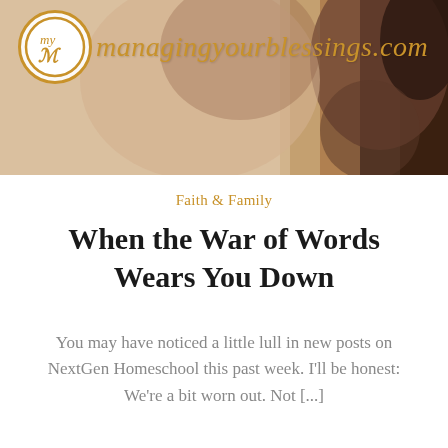[Figure (photo): Header image with a woman's neck/shoulder and hair visible against a dark background, overlaid with the managingpourblessings.com logo — a gold circle with stylized 'my' script letters and italic gold script site name text]
Faith & Family
When the War of Words Wears You Down
You may have noticed a little lull in new posts on NextGen Homeschool this past week. I'll be honest: We're a bit worn out. Not [...]